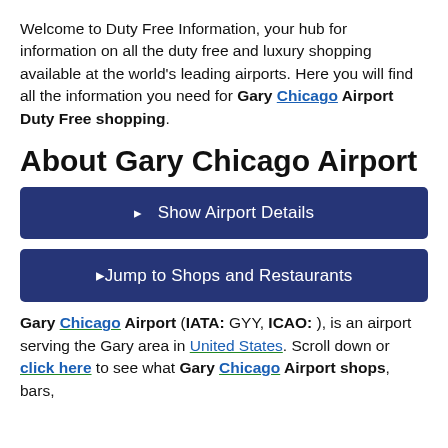Welcome to Duty Free Information, your hub for information on all the duty free and luxury shopping available at the world's leading airports. Here you will find all the information you need for Gary Chicago Airport Duty Free shopping.
About Gary Chicago Airport
▸  Show Airport Details
▸Jump to Shops and Restaurants
Gary Chicago Airport (IATA: GYY, ICAO: ), is an airport serving the Gary area in United States. Scroll down or click here to see what Gary Chicago Airport shops, bars,